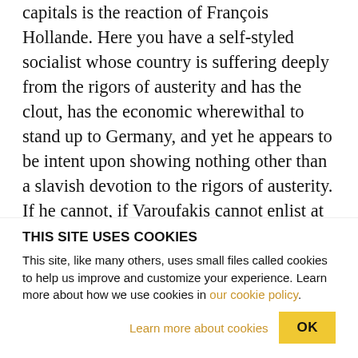... capitals is the reaction of François Hollande. Here you have a self-styled socialist whose country is suffering deeply from the rigors of austerity and has the clout, has the economic wherewithal to stand up to Germany, and yet he appears to be intent upon showing nothing other than a slavish devotion to the rigors of austerity. If he cannot, if Varoufakis cannot enlist at this critical time in the economic evolution of France the assistance of a so-called socialist prime minister, then what progressives in Europe, progressives with real clout, are going to rise to the
THIS SITE USES COOKIES
This site, like many others, uses small files called cookies to help us improve and customize your experience. Learn more about how we use cookies in our cookie policy.
Learn more about cookies   OK